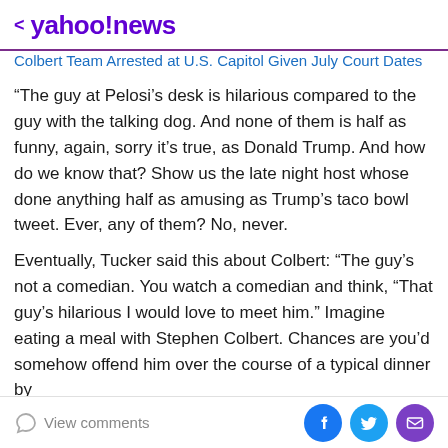< yahoo!news
Colbert Team Arrested at U.S. Capitol Given July Court Dates
“The guy at Pelosi’s desk is hilarious compared to the guy with the talking dog. And none of them is half as funny, again, sorry it’s true, as Donald Trump. And how do we know that? Show us the late night host whose done anything half as amusing as Trump’s taco bowl tweet. Ever, any of them? No, never.
Eventually, Tucker said this about Colbert: “The guy’s not a comedian. You watch a comedian and think, “That guy’s hilarious I would love to meet him.” Imagine eating a meal with Stephen Colbert. Chances are you’d somehow offend him over the course of a typical dinner by
View comments